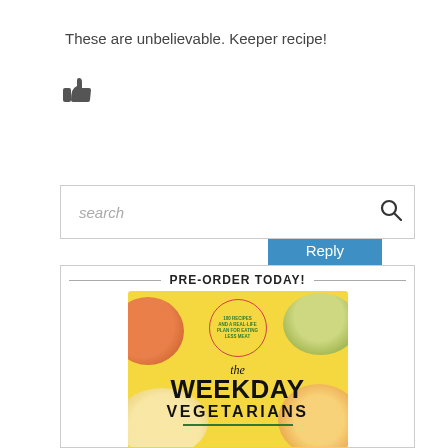These are unbelievable. Keeper recipe!
[Figure (illustration): Thumbs up like icon]
Reply
[Figure (screenshot): Search input box with search icon]
PRE-ORDER TODAY!
[Figure (photo): Book cover for 'The Weekday Vegetarians' on yellow background with food bowls, circle badge reading '100 recipes and a real-life plan for eating less meat']